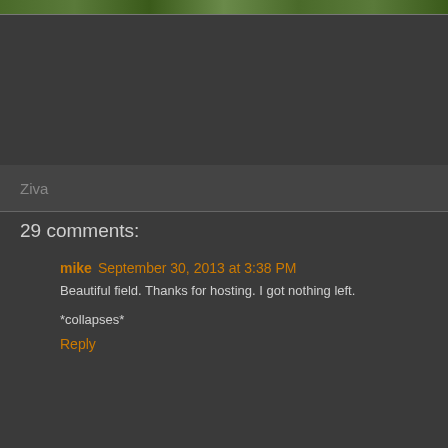[Figure (photo): Cropped photo strip showing green foliage/leaves at the top of the page]
Ziva
29 comments:
mike  September 30, 2013 at 3:38 PM
Beautiful field. Thanks for hosting. I got nothing left.
*collapses*
Reply